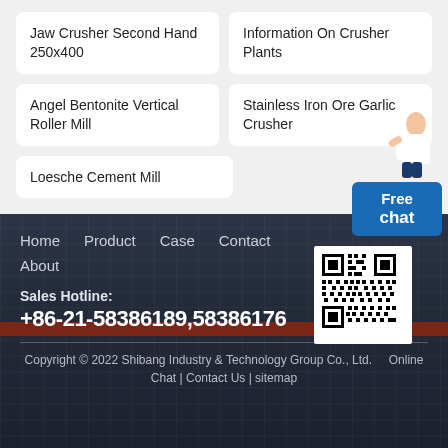Jaw Crusher Second Hand 250x400
Information On Crusher Plants
Angel Bentonite Vertical Roller Mill
Stainless Iron Ore Garlic Crusher
Loesche Cement Mill
[Figure (screenshot): Free chat widget with person illustration]
Home  Product  Case  Contact  About  Sales Hotline: +86-21-58386189,58386176  Copyright © 2022 Shibang Industry & Technology Group Co., Ltd.  Online Chat | Contact Us | sitemap
[Figure (other): QR code for Shibang Industry & Technology Group]
Sales Hotline:
+86-21-58386189,58386176
Copyright © 2022 Shibang Industry & Technology Group Co., Ltd.  Online Chat | Contact Us | sitemap